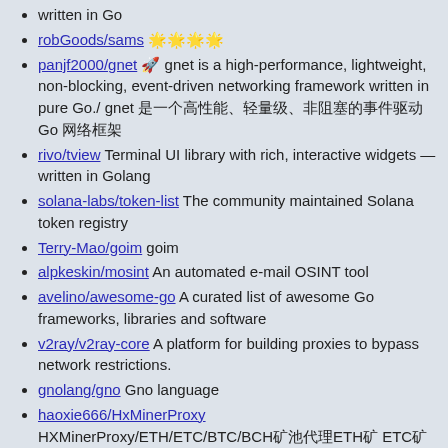written in Go
robGoods/sams 🌟🌟🌟🌟
panjf2000/gnet 🚀 gnet is a high-performance, lightweight, non-blocking, event-driven networking framework written in pure Go./ gnet 是一个高性能、轻量级、非阻塞的事件驱动 Go 网络框架
rivo/tview Terminal UI library with rich, interactive widgets — written in Golang
solana-labs/token-list The community maintained Solana token registry
Terry-Mao/goim goim
alpkeskin/mosint An automated e-mail OSINT tool
avelino/awesome-go A curated list of awesome Go frameworks, libraries and software
v2ray/v2ray-core A platform for building proxies to bypass network restrictions.
gnolang/gno Gno language
haoxie666/HxMinerProxy HXMinerProxy/ETH/ETC/BTC/BCH矿池代理ETH矿 ETC矿BTC矿BCH矿,矿CC,矿eth内核抽水,支持TCP和SSL自动识别 支持所有币种的自定义抽水,web端管理界面,支持多矿池配置,支持自定义ip黑名单.....The most powerful eth agent pumping software
projectdiscovery/nuclei Fast and customizable vulnerability scanner based on simple YAML